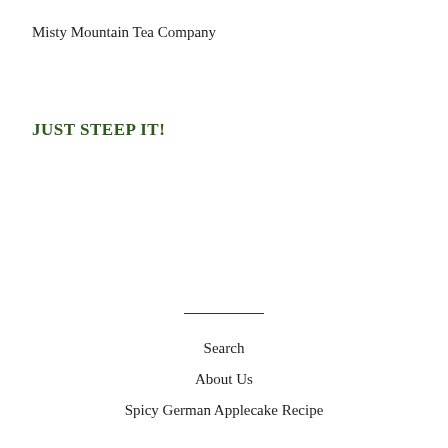Misty Mountain Tea Company
JUST STEEP IT!
—
Search
About Us
Spicy German Applecake Recipe